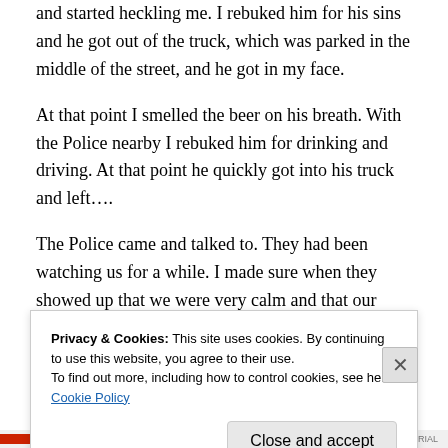and started heckling me. I rebuked him for his sins and he got out of the truck, which was parked in the middle of the street, and he got in my face.
At that point I smelled the beer on his breath. With the Police nearby I rebuked him for drinking and driving. At that point he quickly got into his truck and left….
The Police came and talked to. They had been watching us for a while. I made sure when they showed up that we were very calm and that our volume was very low. They said so long as there are no altercations, we were totally
Privacy & Cookies: This site uses cookies. By continuing to use this website, you agree to their use.
To find out more, including how to control cookies, see here: Cookie Policy